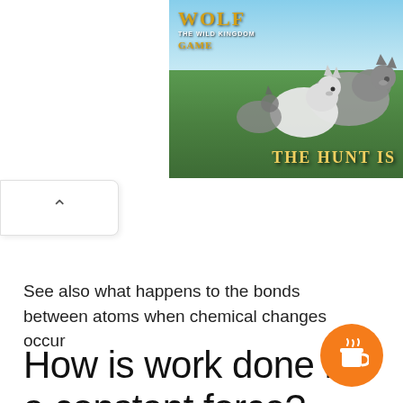[Figure (photo): Wolf Game advertisement banner showing wolves in a meadow with trees and sky. Text reads 'Wolf Game The Wild Kingdom' and 'THE HUNT IS']
[Figure (other): Collapse/minimize button with upward chevron arrow on white rounded rectangle]
See also what happens to the bonds between atoms when chemical changes occur
How is work done by a constant force?
[Figure (other): Orange circular button with coffee cup icon (Buy Me a Coffee widget)]